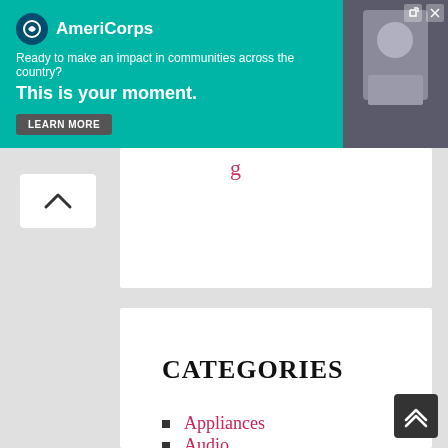[Figure (screenshot): AmeriCorps advertisement banner with teal background. Logo with circle icon and 'AmeriCorps' text. Tagline: 'Ready to make an impact in communities across the country?' Headline: 'This is your moment.' with a 'LEARN MORE' button. Right side shows a photo of a person.]
Appliances
Audio
Automotive
Gaming
Machines
Networking
PCs & Accessories